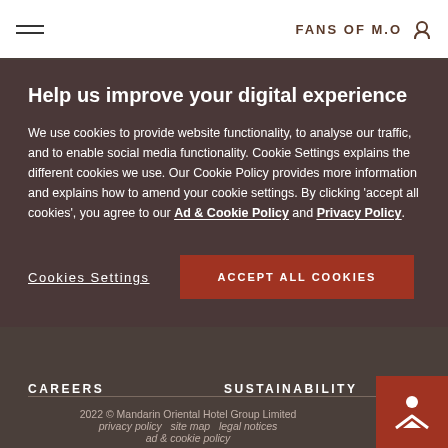FANS OF M.O.
Help us improve your digital experience
We use cookies to provide website functionality, to analyse our traffic, and to enable social media functionality. Cookie Settings explains the different cookies we use. Our Cookie Policy provides more information and explains how to amend your cookie settings. By clicking 'accept all cookies', you agree to our Ad & Cookie Policy and Privacy Policy.
Cookies Settings
ACCEPT ALL COOKIES
CAREERS
SUSTAINABILITY
2022 © Mandarin Oriental Hotel Group Limited
privacy policy   site map   legal notices
ad & cookie policy